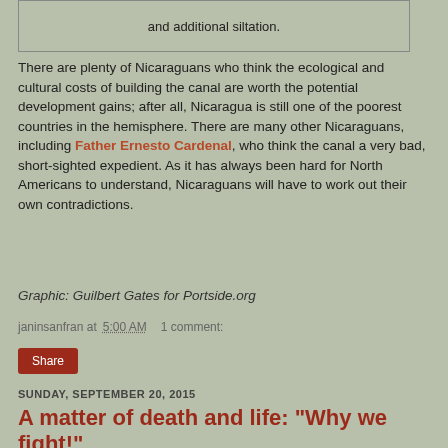and additional siltation.
There are plenty of Nicaraguans who think the ecological and cultural costs of building the canal are worth the potential development gains; after all, Nicaragua is still one of the poorest countries in the hemisphere. There are many other Nicaraguans, including Father Ernesto Cardenal, who think the canal a very bad, short-sighted expedient. As it has always been hard for North Americans to understand, Nicaraguans will have to work out their own contradictions.
Graphic: Guilbert Gates for Portside.org
janinsanfran at 5:00 AM   1 comment:
Share
SUNDAY, SEPTEMBER 20, 2015
A matter of death and life: "Why we fight!"